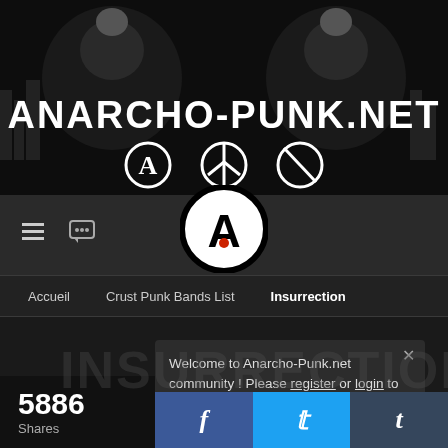[Figure (illustration): Anarcho-Punk.net website banner — black and white image with two mirrored figures holding orbs, large white text reading ANARCHO-PUNK.NET, and anarchist/peace symbols below]
[Figure (logo): Circular anarchist 'A' symbol logo — black circle outline with letter A inside, red dot accent]
ANARCHO-PUNK.NET
Accueil   Crust Punk Bands List   Insurrection
Welcome to Anarcho-Punk.net community ! Please register or login to participate in the forums. 🅰/⊘
5886
Shares
[Figure (infographic): Social sharing bar with Facebook (blue), Twitter (cyan), and Tumblr (dark blue) buttons]